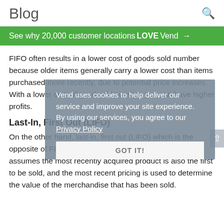Blog
See why 20,000 customer locations LOVE Vend →
FIFO often results in a lower cost of goods sold number because older items generally carry a lower cost than items purchased more recently, due to potential price increases. With a lower cost of good sold number, you can have higher profits.
Last-In, First Out (LIFO)
On the other hand, last-in, first out (LIFO) which is the opposite of FIFO. This inventory management method assumes the most recently acquired product is also the first to be sold, and the most recent pricing is used to determine the value of the merchandise that has been sold.
Vend uses cookies to help deliver our service and improve your site experience. By using our services, you agree to our Privacy Policy
GOT IT!